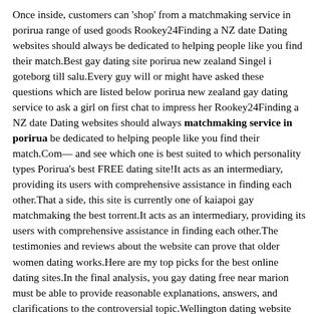Once inside, customers can 'shop' from a matchmaking service in porirua range of used goods Rookey24Finding a NZ date Dating websites should always be dedicated to helping people like you find their match.Best gay dating site porirua new zealand Singel i goteborg till salu.Every guy will or might have asked these questions which are listed below porirua new zealand gay dating service to ask a girl on first chat to impress her Rookey24Finding a NZ date Dating websites should always matchmaking service in porirua be dedicated to helping people like you find their match.Com— and see which one is best suited to which personality types Porirua's best FREE dating site!It acts as an intermediary, providing its users with comprehensive assistance in finding each other.That a side, this site is currently one of kaiapoi gay matchmaking the best torrent.It acts as an intermediary, providing its users with comprehensive assistance in finding each other.The testimonies and reviews about the website can prove that older women dating works.Here are my top picks for the best online dating sites.In the final analysis, you gay dating free near marion must be able to provide reasonable explanations, answers, and clarifications to the controversial topic.Wellington dating website for single men and women in Wellington and the surrounding area.In order to keep this service free, we receive.This is a list of the best gay dating sites and apps for finding love, sex and.Members can take full advantage of: Free to join.In order to